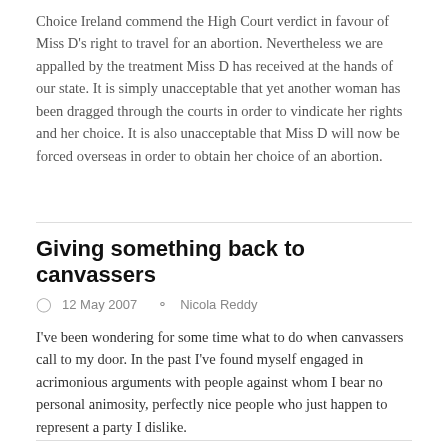Choice Ireland commend the High Court verdict in favour of Miss D's right to travel for an abortion. Nevertheless we are appalled by the treatment Miss D has received at the hands of our state. It is simply unacceptable that yet another woman has been dragged through the courts in order to vindicate her rights and her choice. It is also unacceptable that Miss D will now be forced overseas in order to obtain her choice of an abortion.
Giving something back to canvassers
12 May 2007   Nicola Reddy
I've been wondering for some time what to do when canvassers call to my door. In the past I've found myself engaged in acrimonious arguments with people against whom I bear no personal animosity, perfectly nice people who just happen to represent a party I dislike.